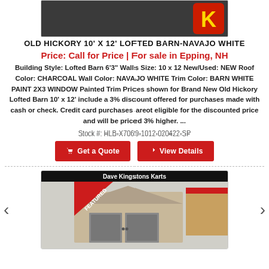[Figure (photo): Top portion of a shed product photo with a golden K logo badge visible, partially cropped at the top of the page.]
OLD HICKORY 10' X 12' LOFTED BARN-NAVAJO WHITE
Price: Call for Price | For sale in Epping, NH
Building Style: Lofted Barn 6'3" Walls Size: 10 x 12 New/Used: NEW Roof Color: CHARCOAL Wall Color: NAVAJO WHITE Trim Color: BARN WHITE PAINT 2X3 WINDOW Painted Trim Prices shown for Brand New Old Hickory Lofted Barn 10' x 12' include a 3% discount offered for purchases made with cash or check. Credit card purchases areot eligible for the discounted price and will be priced 3% higher. ...
Stock #: HLB-X7069-1012-020422-SP
[Figure (screenshot): Two red call-to-action buttons: 'Get a Quote' and 'View Details']
[Figure (photo): Bottom listing showing a shed with a FEATURED banner ribbon in red, Dave Kingstons Karts branding header, showing a tan/beige lofted barn style shed. Navigation arrows on left and right sides.]